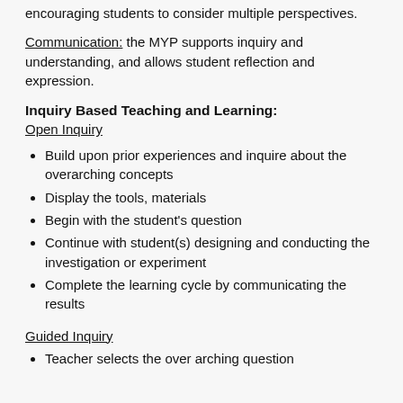encouraging students to consider multiple perspectives.
Communication: the MYP supports inquiry and understanding, and allows student reflection and expression.
Inquiry Based Teaching and Learning:
Open Inquiry
Build upon prior experiences and inquire about the overarching concepts
Display the tools, materials
Begin with the student's question
Continue with student(s) designing and conducting the investigation or experiment
Complete the learning cycle by communicating the results
Guided Inquiry
Teacher selects the over arching question